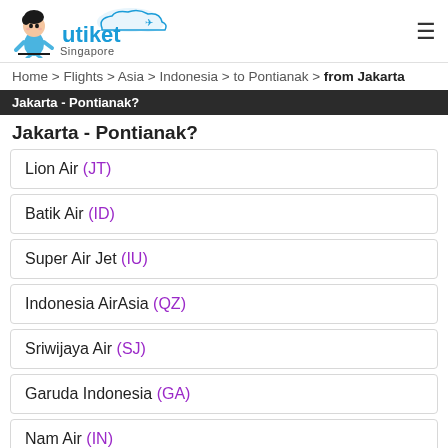utiket Singapore
Home > Flights > Asia > Indonesia > to Pontianak > from Jakarta
Jakarta - Pontianak?
Lion Air (JT)
Batik Air (ID)
Super Air Jet (IU)
Indonesia AirAsia (QZ)
Sriwijaya Air (SJ)
Garuda Indonesia (GA)
Nam Air (IN)